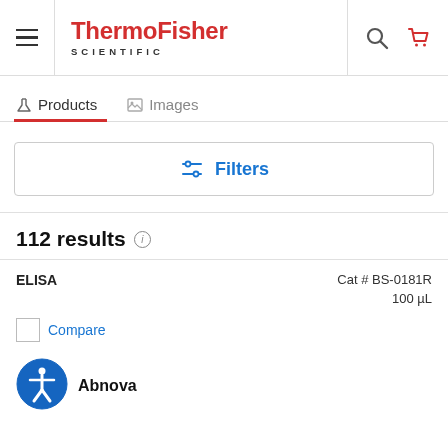ThermoFisher SCIENTIFIC — Products | Images
Filters
112 results
ELISA    Cat # BS-0181R    100 µL
Compare
[Figure (logo): Accessibility icon — blue circle with white figure, arms outstretched]
Abnova